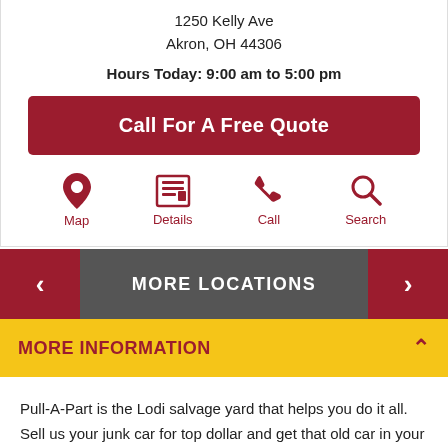1250 Kelly Ave
Akron, OH 44306
Hours Today: 9:00 am to 5:00 pm
Call For A Free Quote
Map
Details
Call
Search
MORE LOCATIONS
MORE INFORMATION
Pull-A-Part is the Lodi salvage yard that helps you do it all. Sell us your junk car for top dollar and get that old car in your yard towed away for free! Call your local Pull-A-Part junkyard near 44354 for a free quote, free tow, and